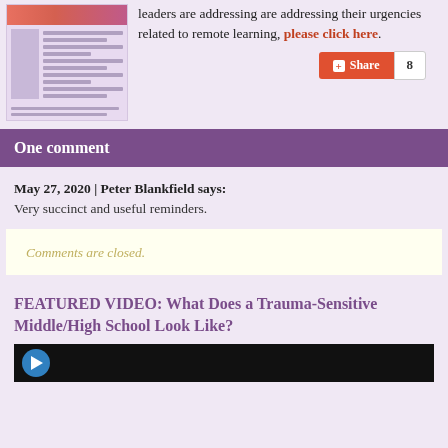[Figure (screenshot): Thumbnail of a document with a pink/purple header stripe and text columns below]
leaders are addressing are addressing their urgencies related to remote learning, please click here.
Share 8
One comment
May 27, 2020 | Peter Blankfield says:
Very succinct and useful reminders.
Comments are closed.
FEATURED VIDEO: What Does a Trauma-Sensitive Middle/High School Look Like?
[Figure (screenshot): Dark video thumbnail showing a person, partially visible]